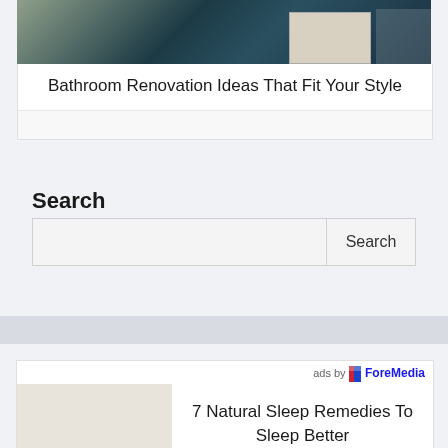[Figure (photo): Bathroom interior photo showing dark teal tiles, a white bathtub and bathroom fixtures]
Bathroom Renovation Ideas That Fit Your Style
Search
Search [input box] [Search button]
[Figure (infographic): Advertisement: ads by ForeMedia - 7 Natural Sleep Remedies To Sleep Better]